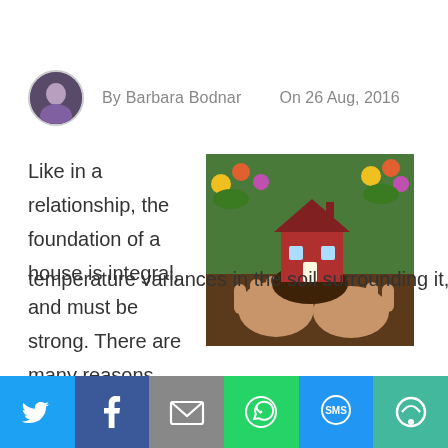By Barbara Bodnar   On 26 Aug, 2016
[Figure (photo): Hands holding a small red model house with soil and colorful flowers in the background]
Like in a relationship, the foundation of a house is integral, and must be strong. There are many reasons why a house's foundation might crack or shift including temperature variances in the soil surrounding it, sinc...